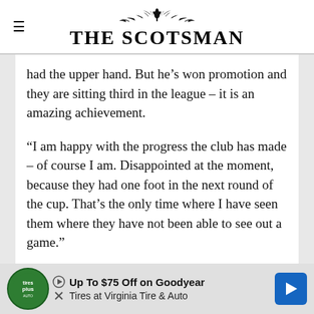THE SCOTSMAN
had the upper hand. But he’s won promotion and they are sitting third in the league – it is an amazing achievement.
“I am happy with the progress the club has made – of course I am. Disappointed at the moment, because they had one foot in the next round of the cup. That’s the only time where I have seen them where they have not been able to see out a game.”
“H… ds. “M…
[Figure (infographic): Advertisement banner: Up To $75 Off on Goodyear Tires at Virginia Tire & Auto, with Tires Plus logo and blue arrow icon]